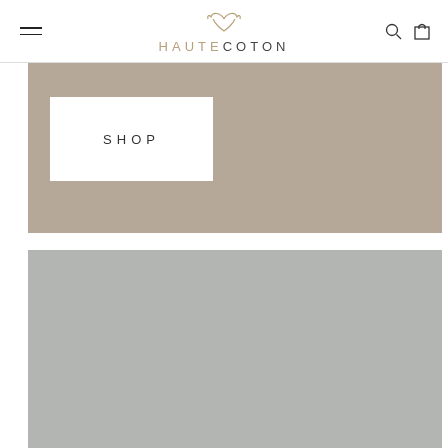HAUTECOTON
[Figure (screenshot): Tan/beige banner section with a white SHOP button on the left]
[Figure (screenshot): Large gray placeholder image section below the banner]